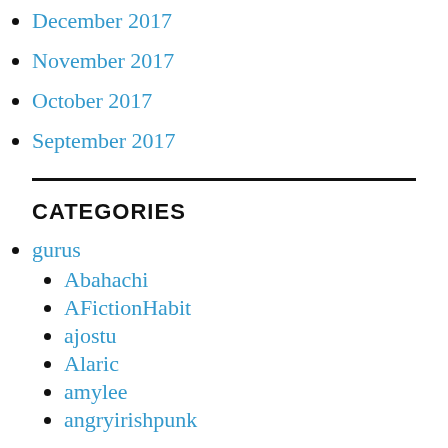December 2017
November 2017
October 2017
September 2017
CATEGORIES
gurus
Abahachi
AFictionHabit
ajostu
Alaric
amylee
angryirishpunk